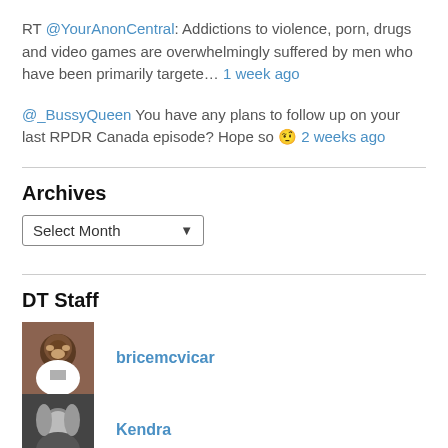RT @YourAnonCentral: Addictions to violence, porn, drugs and video games are overwhelmingly suffered by men who have been primarily targete… 1 week ago
@_BussyQueen You have any plans to follow up on your last RPDR Canada episode? Hope so 🤨 2 weeks ago
Archives
Select Month
DT Staff
bricemcvicar
Kendra
Dark Mark